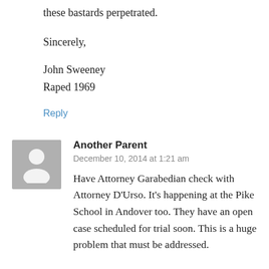these bastards perpetrated.
Sincerely,
John Sweeney
Raped 1969
Reply
Another Parent
December 10, 2014 at 1:21 am
Have Attorney Garabedian check with Attorney D'Urso. It's happening at the Pike School in Andover too. They have an open case scheduled for trial soon. This is a huge problem that must be addressed.